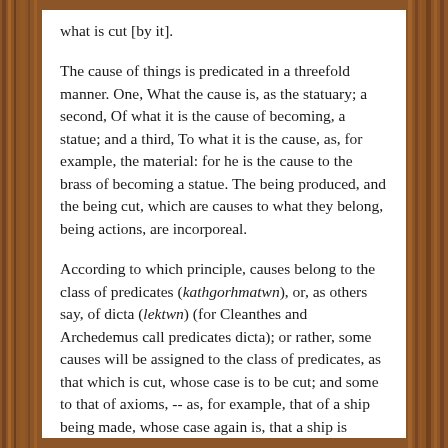what is cut [by it].
The cause of things is predicated in a threefold manner. One, What the cause is, as the statuary; a second, Of what it is the cause of becoming, a statue; and a third, To what it is the cause, as, for example, the material: for he is the cause to the brass of becoming a statue. The being produced, and the being cut, which are causes to what they belong, being actions, are incorporeal.
According to which principle, causes belong to the class of predicates (kathgorhmatwn), or, as others say, of dicta (lektwn) (for Cleanthes and Archedemus call predicates dicta); or rather, some causes will be assigned to the class of predicates, as that which is cut, whose case is to be cut; and some to that of axioms, -- as, for example, that of a ship being made, whose case again is, that a ship is constructing. Now Aristotle denominates the name of such things as a house, a ship, burning, cutting, an appellative. But the case is allowed to be incorporeal. Therefore that sophism is solved thus: What you say passes through your mouth. Which is true. You name a house. Therefore a house passes through your mouth. Which